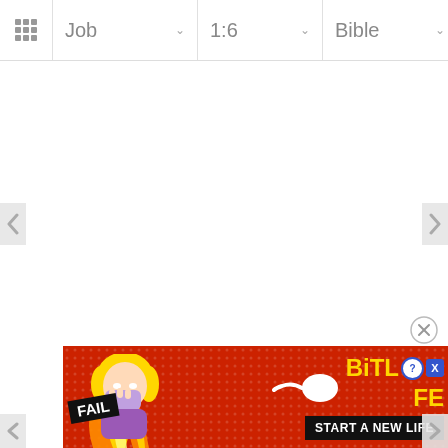Job  1:6  Bible
[Figure (screenshot): Bible app navigation bar with grid icon, dropdowns for Book (Job), Verse (1:6), and Bible version, plus hamburger menu]
[Figure (screenshot): Left navigation arrow for previous chapter]
[Figure (screenshot): Right navigation arrow for next chapter]
[Figure (advertisement): BitLife mobile game advertisement banner with FAIL badge, cartoon character, flames, sperm icon, and START A NEW LIFE text on dark background]